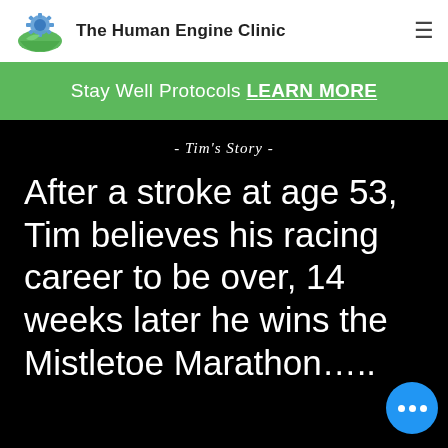The Human Engine Clinic
Stay Well Protocols LEARN MORE
- Tim's Story -
After a stroke at age 53, Tim believes his racing career to be over, 14 weeks later he wins the Mistletoe Marathon.....